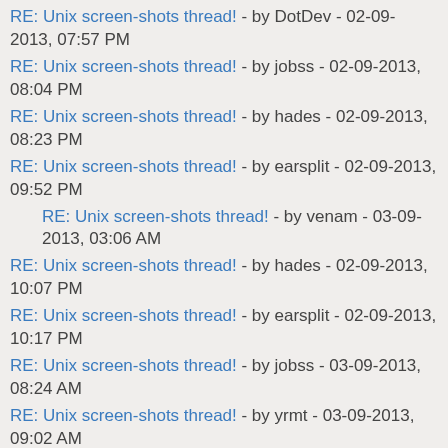RE: Unix screen-shots thread! - by DotDev - 02-09-2013, 07:57 PM
RE: Unix screen-shots thread! - by jobss - 02-09-2013, 08:04 PM
RE: Unix screen-shots thread! - by hades - 02-09-2013, 08:23 PM
RE: Unix screen-shots thread! - by earsplit - 02-09-2013, 09:52 PM
RE: Unix screen-shots thread! - by venam - 03-09-2013, 03:06 AM
RE: Unix screen-shots thread! - by hades - 02-09-2013, 10:07 PM
RE: Unix screen-shots thread! - by earsplit - 02-09-2013, 10:17 PM
RE: Unix screen-shots thread! - by jobss - 03-09-2013, 08:24 AM
RE: Unix screen-shots thread! - by yrmt - 03-09-2013, 09:02 AM
RE: Unix screen-shots thread! - by earsplit - 03-09-2013, 12:03 PM
RE: Unix screen-shots thread! - by ajac - 08-09-2013, 01:12 AM